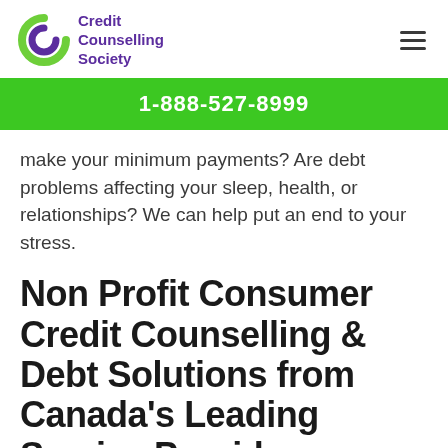Credit Counselling Society
1-888-527-8999
make your minimum payments? Are debt problems affecting your sleep, health, or relationships? We can help put an end to your stress.
Non Profit Consumer Credit Counselling & Debt Solutions from Canada's Leading Service Provider